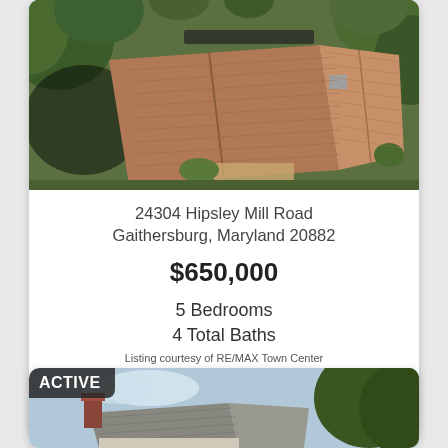[Figure (photo): Aerial view of a house with brown/terracotta roof surrounded by trees and greenery]
24304 Hipsley Mill Road Gaithersburg, Maryland 20882
$650,000
5 Bedrooms
4 Total Baths
Listing courtesy of RE/MAX Town Center
View Details
[Figure (photo): Aerial/street view of a house, partially visible, with ACTIVE badge overlay]